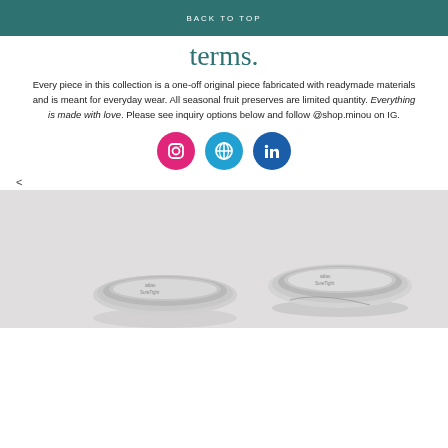BACK TO TOP
your paradise, on your terms.
Every piece in this collection is a one-off original piece fabricated with readymade materials and is meant for everyday wear. All seasonal fruit preserves are limited quantity. Everything is made with love. Please see inquiry options below and follow @shop.minou on IG.
[Figure (infographic): Three social media icon circles: Instagram (pink/magenta), WordPress (light blue), LinkedIn (dark blue)]
<
[Figure (photo): Two silver mason jar lids on a light gray/white background, viewed from above.]